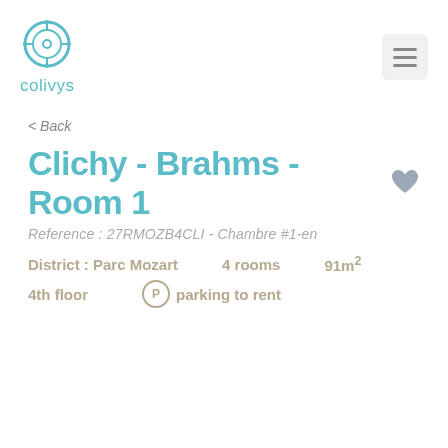[Figure (logo): Colivys logo: circular icon with compass/gear design in teal, with text 'colivys' below in teal]
< Back
Clichy - Brahms - Room 1
Reference : 27RMOZB4CLI - Chambre #1-en
District : Parc Mozart    4 rooms    91m²
4th floor    P parking to rent